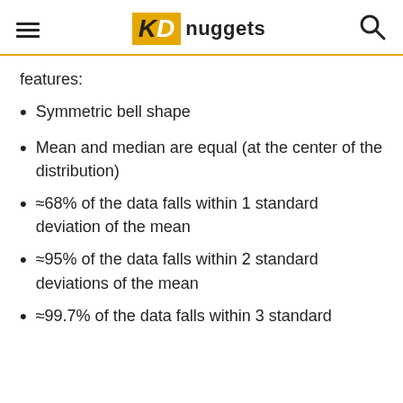KDnuggets
features:
Symmetric bell shape
Mean and median are equal (at the center of the distribution)
≈68% of the data falls within 1 standard deviation of the mean
≈95% of the data falls within 2 standard deviations of the mean
≈99.7% of the data falls within 3 standard